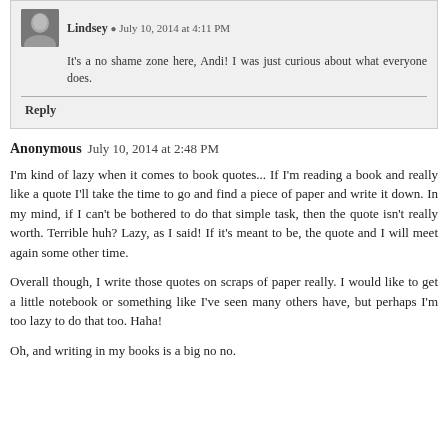Lindsey · July 10, 2014 at 4:11 PM
It's a no shame zone here, Andi! I was just curious about what everyone does.
Reply
Anonymous   July 10, 2014 at 2:48 PM
I'm kind of lazy when it comes to book quotes... If I'm reading a book and really like a quote I'll take the time to go and find a piece of paper and write it down. In my mind, if I can't be bothered to do that simple task, then the quote isn't really worth. Terrible huh? Lazy, as I said! If it's meant to be, the quote and I will meet again some other time.
Overall though, I write those quotes on scraps of paper really. I would like to get a little notebook or something like I've seen many others have, but perhaps I'm too lazy to do that too. Haha!
Oh, and writing in my books is a big no no.